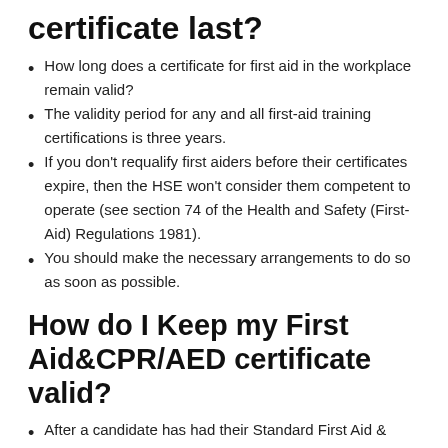certificate last?
How long does a certificate for first aid in the workplace remain valid?
The validity period for any and all first-aid training certifications is three years.
If you don't requalify first aiders before their certificates expire, then the HSE won't consider them competent to operate (see section 74 of the Health and Safety (First-Aid) Regulations 1981).
You should make the necessary arrangements to do so as soon as possible.
How do I Keep my First Aid&CPR/AED certificate valid?
After a candidate has had their Standard First Aid &